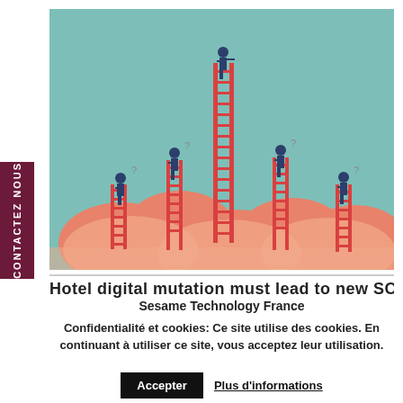[Figure (illustration): Illustration of businesspeople standing on red ladders of varying heights on coral-colored clouds against a teal sky. The tallest figure at center uses a telescope/binoculars.]
Hotel digital mutation must lead to new SOP
Sesame Technology France
Confidentialité et cookies: Ce site utilise des cookies. En continuant à utiliser ce site, vous acceptez leur utilisation.
Accepter
Plus d'informations